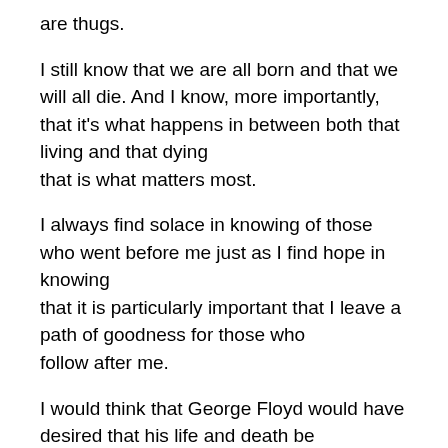are thugs.
I still know that we are all born and that we will all die. And I know, more importantly, that it's what happens in between both that living and that dying that is what matters most.
I always find solace in knowing of those who went before me just as I find hope in knowing that it is particularly important that I leave a path of goodness for those who follow after me.
I would think that George Floyd would have desired that his life and death be remembered not for the begetting of more deaths and violence but rather for the possibility of positive changes for a future generation…